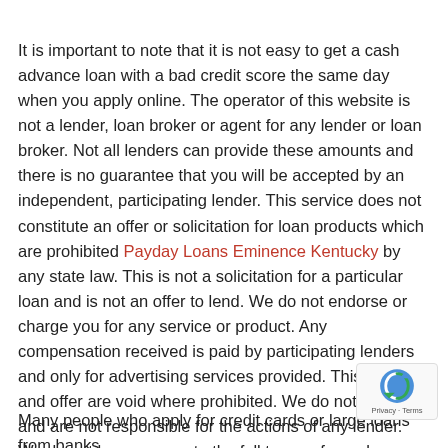It is important to note that it is not easy to get a cash advance loan with a bad credit score the same day when you apply online. The operator of this website is not a lender, loan broker or agent for any lender or loan broker. Not all lenders can provide these amounts and there is no guarantee that you will be accepted by an independent, participating lender. This service does not constitute an offer or solicitation for loan products which are prohibited Payday Loans Eminence Kentucky by any state law. This is not a solicitation for a particular loan and is not an offer to lend. We do not endorse or charge you for any service or product. Any compensation received is paid by participating lenders and only for advertising services provided. This service and offer are void where prohibited. We do not control and are not responsible for the actions of any lender. We do not have access to the full terms of your loan, including APR.
Many people who apply for credit cards or large loans from banks